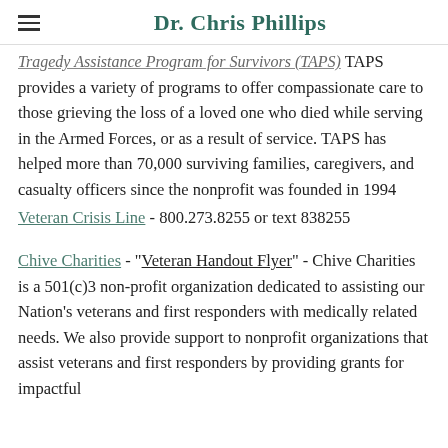Dr. Chris Phillips
Tragedy Assistance Program for Survivors (TAPS) TAPS provides a variety of programs to offer compassionate care to those grieving the loss of a loved one who died while serving in the Armed Forces, or as a result of service. TAPS has helped more than 70,000 surviving families, caregivers, and casualty officers since the nonprofit was founded in 1994
Veteran Crisis Line - 800.273.8255 or text 838255
Chive Charities - "Veteran Handout Flyer" - Chive Charities is a 501(c)3 non-profit organization dedicated to assisting our Nation's veterans and first responders with medically related needs. We also provide support to nonprofit organizations that assist veterans and first responders by providing grants for impactful